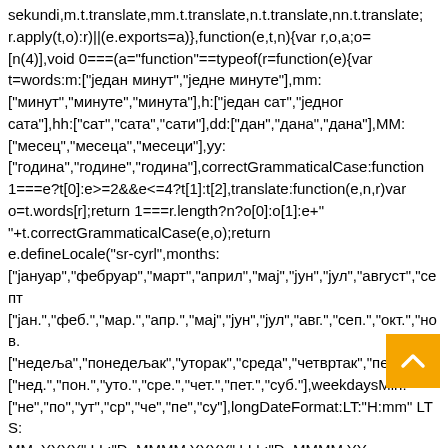sekundi,m.t.translate,mm.t.translate,n.t.translate,nn.t.translate; r.apply(t,o):r)||(e.exports=a)},function(e,t,n){var r,o,a;o=[n(4)],void 0===(a="function"==typeof(r=function(e){var t=words:m:["један минут","једне минуте"],mm:["минут","минуте","минута"],h:["један сат","једног сата"],hh:["сат","сата","сати"],dd:["дан","дана","дана"],MM:["месец","месеца","месеци"],yy:["година","године","година"],correctGrammaticalCase:function 1===e?t[0]:e>=2&&e<=4?t[1]:t[2],translate:function(e,n,r)var o=t.words[r];return 1===r.length?n?o[0]:o[1]:e+" "+t.correctGrammaticalCase(e,o);return e.defineLocale("sr-cyrl",months:["јануар","фебруар","март","април","мај","јун","јул","август","септ ["јан.","феб.","мар.","апр.","мај","јун","јул","авг.","сеп.","окт.","нов. ["недеља","понедељак","уторак","среда","четвртак","петак","су ["нед.","пон.","уто.","сре.","чет.","пет.","суб."],weekdaysMin:["не","по","ут","ср","че","пе","су"],longDateFormat:LT:"H:mm" LTS:MM. YYYY",LL:"D. MMMM YYYY",LLL:"D. MMMM YYYY LT",LLLL:"dddd, D. MMMM YYYY LT",calendar:sameDay.[данас у] LT",nextDay:"[сутра у] LT",nextWeek:function(){switch(this.day()){case 0:return"[